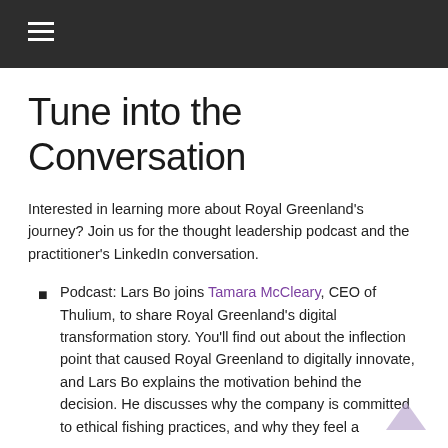☰
Tune into the Conversation
Interested in learning more about Royal Greenland's journey? Join us for the thought leadership podcast and the practitioner's LinkedIn conversation.
Podcast: Lars Bo joins Tamara McCleary, CEO of Thulium, to share Royal Greenland's digital transformation story. You'll find out about the inflection point that caused Royal Greenland to digitally innovate, and Lars Bo explains the motivation behind the decision. He discusses why the company is committed to ethical fishing practices, and why they feel a